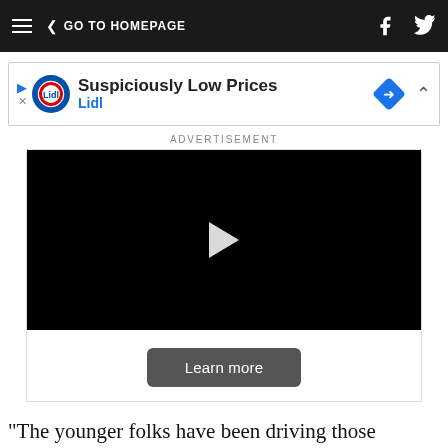≡ < GO TO HOMEPAGE
[Figure (screenshot): Lidl advertisement banner: Suspiciously Low Prices, Lidl logo and diamond icon]
ADVERTISEMENT
[Figure (screenshot): Video player with black screen showing a play button and a Learn more button below]
"The younger folks have been driving those